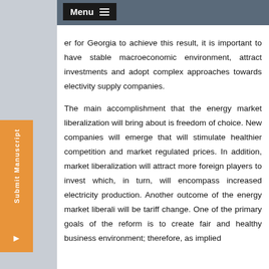Menu
er for Georgia to achieve this result, it is important to have stable macroeconomic environment, attract investments and adopt complex approaches towards electivity supply companies. The main accomplishment that the energy market liberalization will bring about is freedom of choice. New companies will emerge that will stimulate healthier competition and market regulated prices. In addition, market liberalization will attract more foreign players to invest which, in turn, will encompass increased electricity production. Another outcome of the energy market liberali will be tariff change. One of the primary goals of the reform is to create fair and healthy business environment; therefore, as implied